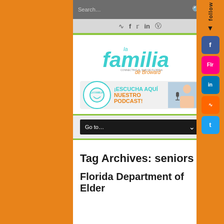[Figure (screenshot): Search bar with gray background and search icon on the right]
[Figure (infographic): Social media icons row: RSS, Facebook, Twitter, LinkedIn, Instagram on gray background]
[Figure (logo): La Familia de Broward logo in teal and orange]
[Figure (infographic): Podcast banner: ESCUCHA AQUI NUESTRO PODCAST! with woman holding microphone]
[Figure (screenshot): Navigation dropdown menu showing Go to...]
Tag Archives: seniors
Florida Department of Elder
[Figure (infographic): Right sidebar with follow text and social media buttons: Facebook, Flickr, LinkedIn, RSS, Twitter]